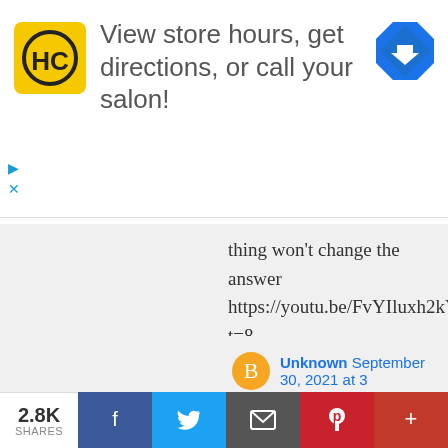[Figure (other): Advertisement banner: HC salon logo (yellow square with black HC letters), text 'View store hours, get directions, or call your salon!', and a blue diamond navigation arrow icon. Small ad controls (play triangle and X) at bottom left.]
thing won't change the answer https://youtu.be/FvYIluxh2kY?t=8(truncated)
Unknown September 30, 2021 at 3:(truncated)
Conditions in trenches are "lockdo(truncated) packed together in trenches. It w(truncated) from home".

Read the link the author puts in t(truncated)
2.8K SHARES  [Facebook] [Twitter] [Email] [Pinterest] [More]